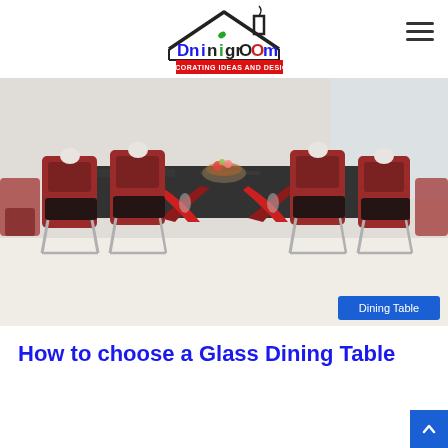DiningRoom - Decorating Ideas and Design
[Figure (photo): Modern glass dining table with black glass top and red X-shaped base, surrounded by red and dark leather chairs with chrome legs, in a bright room. A 'Dining Table' badge appears in the lower right corner.]
How to choose a Glass Dining Table